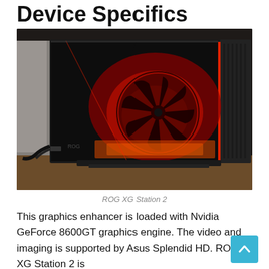Device Specifics
[Figure (photo): Photo of the ASUS ROG XG Station 2 external GPU enclosure with red LED lighting visible through the side panel, sitting on a desk surface.]
ROG XG Station 2
This graphics enhancer is loaded with Nvidia GeForce 8600GT graphics engine. The video and imaging is supported by Asus Splendid HD. ROG XG Station 2 is